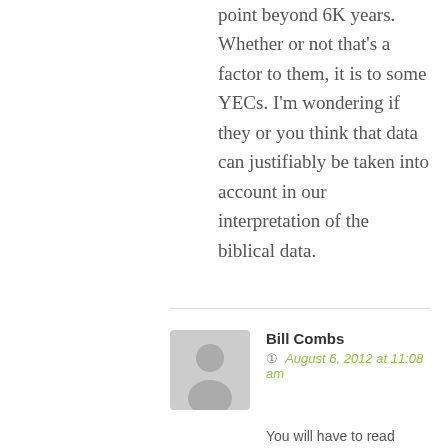point beyond 6K years. Whether or not that's a factor to them, it is to some YECs. I'm wondering if they or you think that data can justifiably be taken into account in our interpretation of the biblical data.
Bill Combs
August 6, 2012 at 11:08 am
You will have to read